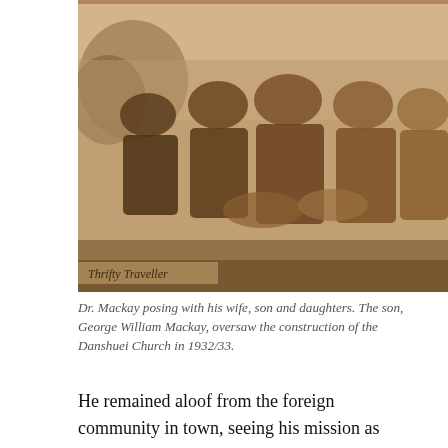[Figure (photo): Sepia-toned historical photograph of Dr. Mackay posing with his wife, son and daughters. Multiple people seated and standing together in Victorian-era clothing. Watermark reads 'Thrifty Traveller' in the lower left corner.]
Dr. Mackay posing with his wife, son and daughters. The son, George William Mackay, oversaw the construction of the Danshuei Church in 1932/33.
He remained aloof from the foreign community in town, seeing his mission as converting the 'heathen natives' rather than tending to the spiritual needs of his fellow westerners. They probably shunned him too, especially after he married a local girl, something which was not the done thing in those stuffy and discriminatory late-Victorian days.